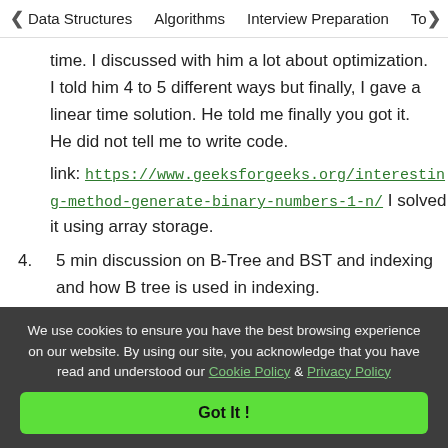< Data Structures   Algorithms   Interview Preparation   To>
time. I discussed with him a lot about optimization. I told him 4 to 5 different ways but finally, I gave a linear time solution. He told me finally you got it. He did not tell me to write code.
link: https://www.geeksforgeeks.org/interesting-method-generate-binary-numbers-1-n/ I solved it using array storage.
4.   5 min discussion on B-Tree and BST and indexing and how B tree is used in indexing.
We use cookies to ensure you have the best browsing experience on our website. By using our site, you acknowledge that you have read and understood our Cookie Policy & Privacy Policy
Got It !